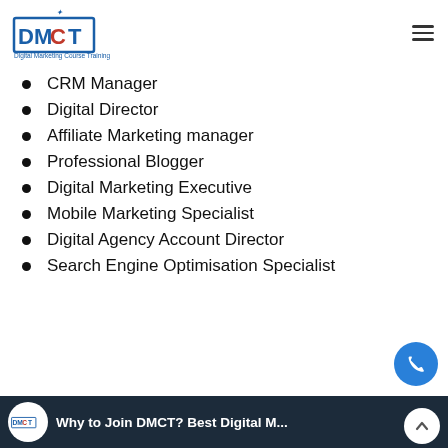DMCT - Digital Marketing Course Training
CRM Manager
Digital Director
Affiliate Marketing manager
Professional Blogger
Digital Marketing Executive
Mobile Marketing Specialist
Digital Agency Account Director
Search Engine Optimisation Specialist
[Figure (screenshot): Bottom banner with DMCT logo and text 'Why to Join DMCT? Best Digital M...' on dark background]